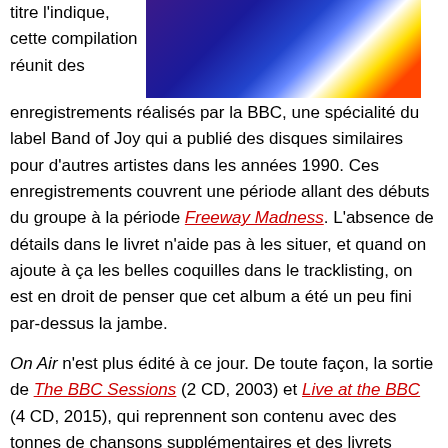[Figure (photo): Album cover photo with colorful abstract/psychedelic imagery in blue, white, yellow and red tones]
titre l'indique, cette compilation réunit des enregistrements réalisés par la BBC, une spécialité du label Band of Joy qui a publié des disques similaires pour d'autres artistes dans les années 1990. Ces enregistrements couvrent une période allant des débuts du groupe à la période Freeway Madness. L'absence de détails dans le livret n'aide pas à les situer, et quand on ajoute à ça les belles coquilles dans le tracklisting, on est en droit de penser que cet album a été un peu fini par-dessus la jambe.
On Air n'est plus édité à ce jour. De toute façon, la sortie de The BBC Sessions (2 CD, 2003) et Live at the BBC (4 CD, 2015), qui reprennent son contenu avec des tonnes de chansons supplémentaires et des livrets dignes de ce nom, l'ont rendu complètement obsolète.